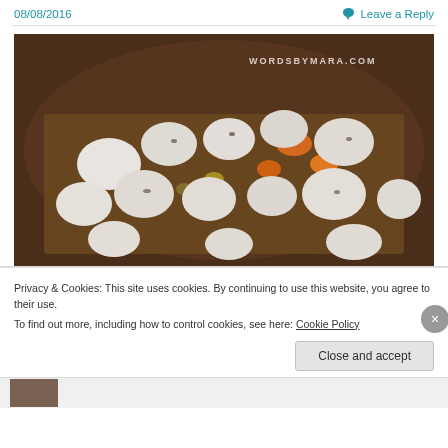08/08/2016   Leave a Reply
[Figure (photo): A pot of stew or soup with dumplings and mixed vegetables (carrots, onions) with watermark WORDSBYMARA.COM in top right corner]
Privacy & Cookies: This site uses cookies. By continuing to use this website, you agree to their use.
To find out more, including how to control cookies, see here: Cookie Policy
Close and accept